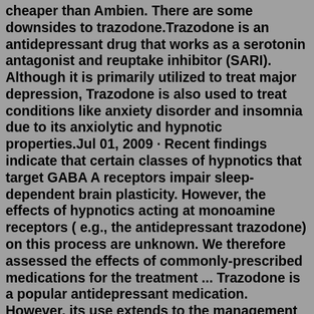cheaper than Ambien. There are some downsides to trazodone.Trazodone is an antidepressant drug that works as a serotonin antagonist and reuptake inhibitor (SARI). Although it is primarily utilized to treat major depression, Trazodone is also used to treat conditions like anxiety disorder and insomnia due to its anxiolytic and hypnotic properties.Jul 01, 2009 · Recent findings indicate that certain classes of hypnotics that target GABA A receptors impair sleep-dependent brain plasticity. However, the effects of hypnotics acting at monoamine receptors ( e.g., the antidepressant trazodone) on this process are unknown. We therefore assessed the effects of commonly-prescribed medications for the treatment ... Trazodone is a popular antidepressant medication. However, its use extends to the management of difficulty sleeping. This use is in fact a side effect of the drug and should therefore be monitored closely. Any use of trazodone must be supervised by a trained healthcare professional. 5 / 5 – 1 votes (click to rate this article) Sleep cycles typically last 90 minutes.